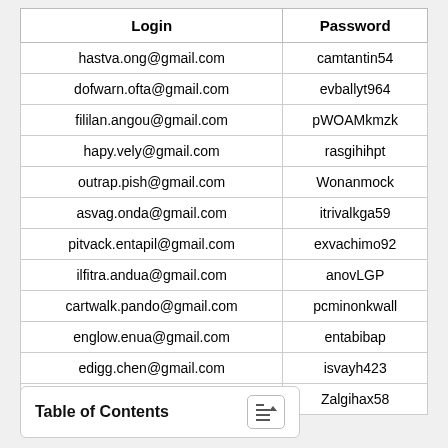| Login | Password |
| --- | --- |
| hastva.ong@gmail.com | camtantin54 |
| dofwarn.ofta@gmail.com | evballyt964 |
| fililan.angou@gmail.com | pWOAMkmzk |
| hapy.vely@gmail.com | rasgihihpt |
| outrap.pish@gmail.com | Wonanmock |
| asvag.onda@gmail.com | itrivalkga59 |
| pitvack.entapil@gmail.com | exvachimo92 |
| ilfitra.andua@gmail.com | anovLGP |
| cartwalk.pando@gmail.com | pcminonkwall |
| englow.enua@gmail.com | entabibap |
| edigg.chen@gmail.com | isvayh423 |
| cilik.tranig@gmail.com | Zalgihax58 |
Table of Contents